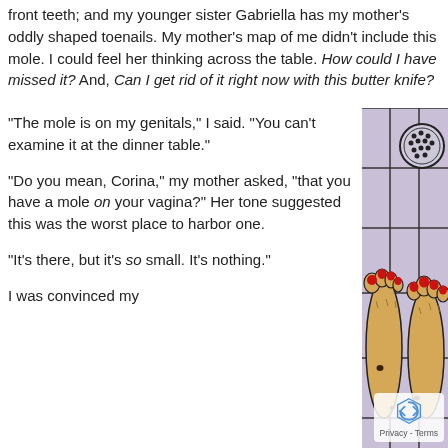front teeth; and my younger sister Gabriella has my mother's oddly shaped toenails. My mother's map of me didn't include this mole. I could feel her thinking across the table. How could I have missed it? And, Can I get rid of it right now with this butter knife?
[Figure (illustration): Illustration of two feet with red-painted toenails standing on a tiled floor with dark grout lines, with a circular shower drain above. The feet have dark spots (moles). The tiles are light purple/lavender color. The image has a watercolor/drawing style.]
“The mole is on my genitals,” I said. “You can’t examine it at the dinner table.”
“Do you mean, Corina,” my mother asked, “that you have a mole on your vagina?” Her tone suggested this was the worst place to harbor one.
“It’s there, but it’s so small. It’s nothing.”
I was convinced my